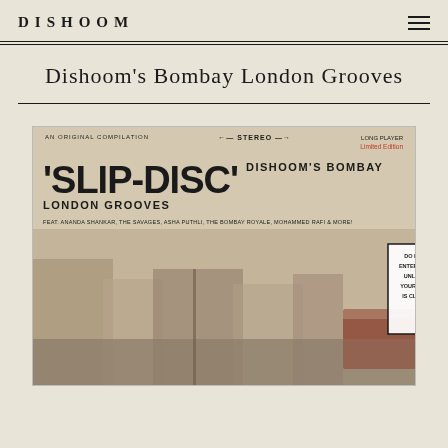DISHOOM
Dishoom's Bombay London Grooves
[Figure (illustration): Album cover for 'Slip-Disc' Dishoom's Bombay London Grooves. Top bar reads: AN ORIGINAL COMPILATION | <- STEREO -> | LONG PLAYER Limited Edition. Large bold text reads 'SLIP-DISC' with DISHOOM'S BOMBAY LONDON GROOVES beside it. Below: FEAT. ANANDA SHANKAR, THE SAVAGES, ASHA PUTHLI, THE BOMBAY ROYALE, MOHAMMED RAFI & MORE! The lower half shows a vintage sepia-toned street photograph of London with a box junction sign reading DO NOT ENTER BOX UNLESS YOUR EXIT IS CLEAR.]